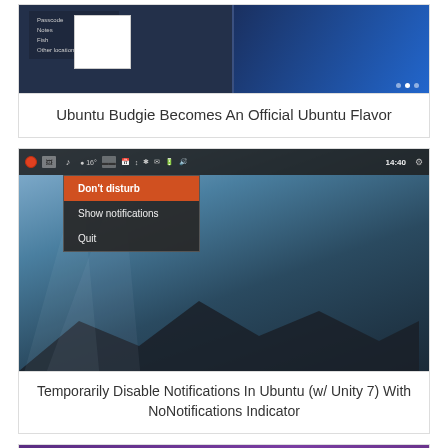[Figure (screenshot): Ubuntu Budgie desktop screenshot showing a menu with options including Notes, Fish, and other items on a dark blue background]
Ubuntu Budgie Becomes An Official Ubuntu Flavor
[Figure (screenshot): Ubuntu Unity 7 desktop showing system tray with notification indicator dropdown menu containing: Don't disturb (highlighted in orange), Show notifications, Quit. Time shows 14:40. Background is moody sky with mountains.]
Temporarily Disable Notifications In Ubuntu (w/ Unity 7) With NoNotifications Indicator
[Figure (screenshot): Ubuntu desktop with purple background showing Inkscape keyboard shortcuts dialog window with a table of key bindings]